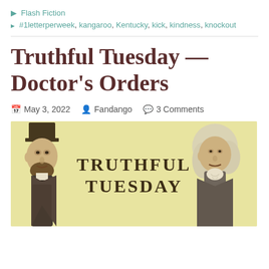Flash Fiction
#1letterperweek, kangaroo, Kentucky, kick, kindness, knockout
Truthful Tuesday — Doctor's Orders
May 3, 2022   Fandango   3 Comments
[Figure (illustration): Banner image with light yellow background showing illustrated portraits of Abraham Lincoln on the left and George Washington on the right, with the text 'TRUTHFUL TUESDAY' in large serif letters in the center]